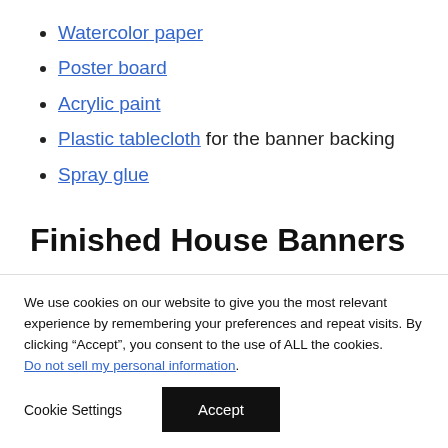Watercolor paper
Poster board
Acrylic paint
Plastic tablecloth for the banner backing
Spray glue
Finished House Banners –
We use cookies on our website to give you the most relevant experience by remembering your preferences and repeat visits. By clicking “Accept”, you consent to the use of ALL the cookies. Do not sell my personal information.